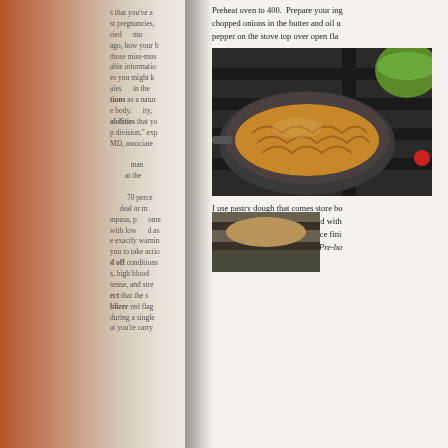Preheat oven to 400. Prepare your ingredients. Saute chopped onions in the butter and oil until translucent with pepper on the stove top over open flame.
[Figure (photo): Photo of sautéed onions in a dark frying pan on a gas stove, with a green pot visible in the background]
I use pastry dough that comes store bought and line the pan. Press it into the pan and with a fork puncture as necessary giving your crust a nice finish. After watching programs, I now "Blind bake" (Pre-bake) my crust first which keeps it crisp .
[Figure (photo): Partially visible photo at the bottom of the page showing food preparation]